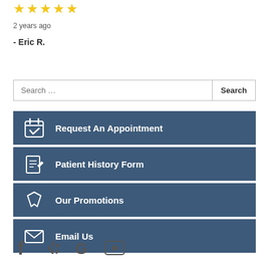[Figure (other): Five gold star rating icons]
2 years ago
- Eric R.
Search ...
Request An Appointment
Patient History Form
Our Promotions
Email Us
[Figure (other): Social media icons: Facebook, Yelp, Google, YouTube]